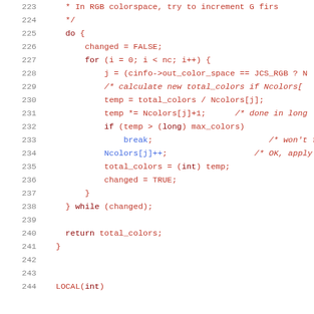[Figure (screenshot): Source code viewer showing C code lines 223-244 with syntax highlighting. Line numbers in grey on left, code with colored tokens (keywords in dark red, comments in red italic, identifiers in brown, operators in dark).]